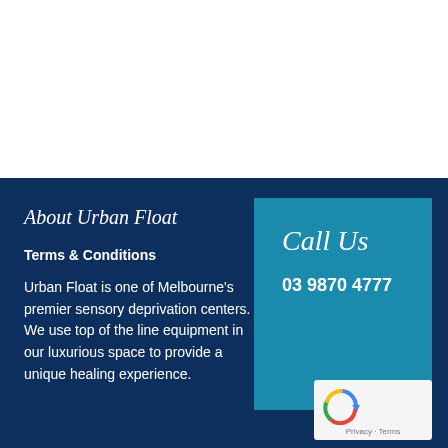About Urban Float
Terms & Conditions
Urban Float is one of Melbourne's premier sensory deprivation centers. We use top of the line equipment in our luxurious space to provide a unique healing experience.
Call Us
03 9870 4777
[Figure (logo): reCAPTCHA logo with Privacy and Terms links]